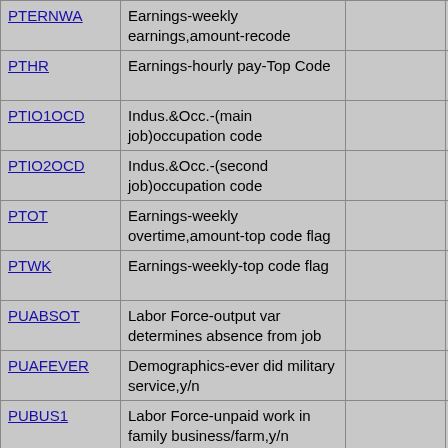| PTERNWA | Earnings-weekly earnings,amount-recode |  | not requi… |
| PTHR | Earnings-hourly pay-Top Code |  | not requi… |
| PTIO1OCD | Indus.&Occ.-(main job)occupation code |  | not requi… |
| PTIO2OCD | Indus.&Occ.-(second job)occupation code |  | not requi… |
| PTOT | Earnings-weekly overtime,amount-top code flag |  | not requi… |
| PTWK | Earnings-weekly-top code flag |  | not requi… |
| PUABSOT | Labor Force-output var determines absence from job |  | not requi… |
| PUAFEVER | Demographics-ever did military service,y/n |  | not requi… |
| PUBUS1 | Labor Force-unpaid work in family business/farm,y/n |  | not requi… |
| PUBUS2OT | Labor Force-stores BUS2 entry |  | not requi… |
|  | Labor Force-filter for... |  | not requi… |